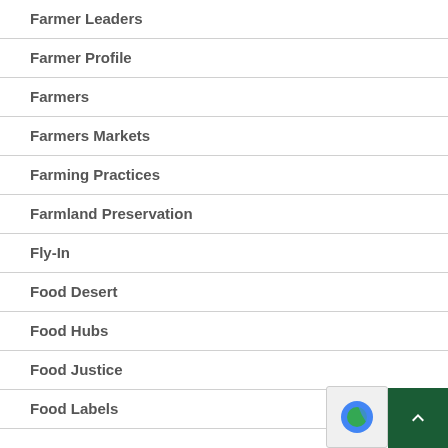Farmer Leaders
Farmer Profile
Farmers
Farmers Markets
Farming Practices
Farmland Preservation
Fly-In
Food Desert
Food Hubs
Food Justice
Food Labels